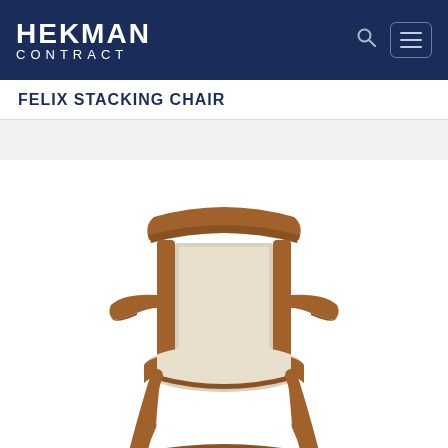HEKMAN CONTRACT
FELIX STACKING CHAIR
[Figure (photo): A wooden armchair with cream/beige upholstered seat and back panel. The chair has a warm medium-brown wood finish with curved armrests and tapered legs. It appears to be the Hekman Contract Felix Stacking Chair product photo on a white background.]